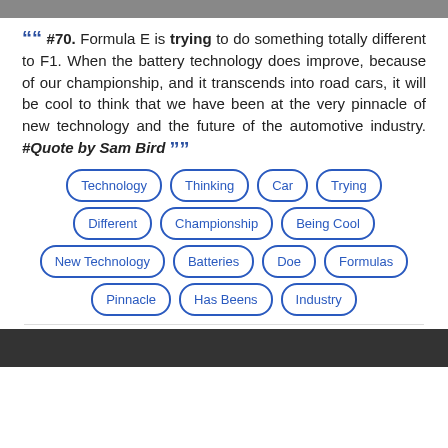[Figure (photo): Top portion of a photo, dark/grey background strip]
““ #70. Formula E is trying to do something totally different to F1. When the battery technology does improve, because of our championship, and it transcends into road cars, it will be cool to think that we have been at the very pinnacle of new technology and the future of the automotive industry. #Quote by Sam Bird ””
Technology
Thinking
Car
Trying
Different
Championship
Being Cool
New Technology
Batteries
Doe
Formulas
Pinnacle
Has Beens
Industry
[Figure (photo): Bottom portion of a photo, very dark background strip]